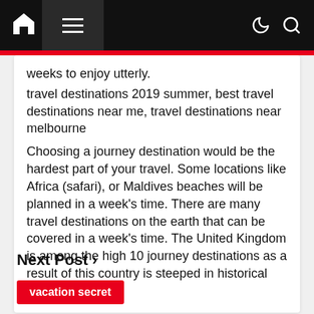[Navigation bar with home icon, menu, dark mode, and search icons]
weeks to enjoy utterly.
travel destinations 2019 summer, best travel destinations near me, travel destinations near melbourne
Choosing a journey destination would be the hardest part of your travel. Some locations like Africa (safari), or Maldives beaches will be planned in a week's time. There are many travel destinations on the earth that can be covered in a week's time. The United Kingdom is among the high 10 journey destinations as a result of this country is steeped in historical significance.
Next Post >
vacation secret